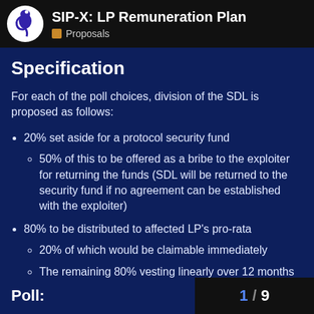SIP-X: LP Remuneration Plan — Proposals
Specification
For each of the poll choices, division of the SDL is proposed as follows:
20% set aside for a protocol security fund
50% of this to be offered as a bribe to the exploiter for returning the funds (SDL will be returned to the security fund if no agreement can be established with the exploiter)
80% to be distributed to affected LP's pro-rata
20% of which would be claimable immediately
The remaining 80% vesting linearly over 12 months
Poll: 1 / 9